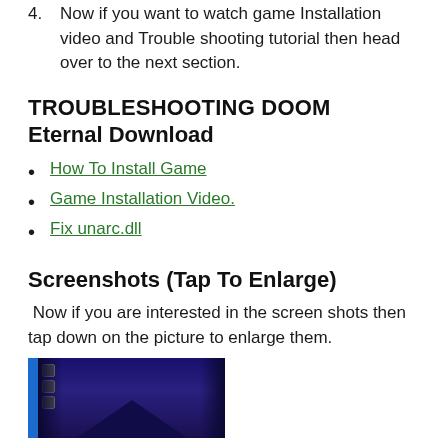4. Now if you want to watch game Installation video and Trouble shooting tutorial then head over to the next section.
TROUBLESHOOTING DOOM Eternal Download
How To Install Game
Game Installation Video.
Fix unarc.dll
Screenshots  (Tap To Enlarge)
Now if you are interested in the screen shots then tap down on the picture to enlarge them.
[Figure (screenshot): A dark screenshot of DOOM Eternal game, showing an interior corridor with purple/blue tones.]